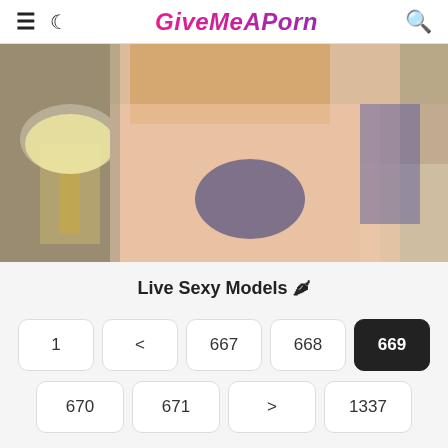GiveMeAPorn
[Figure (photo): A tattooed woman with blonde hair posing indoors with a lamp visible in the background.]
Live Sexy Models 🌶
Pagination: 1 < 667 668 669 670 671 > 1337